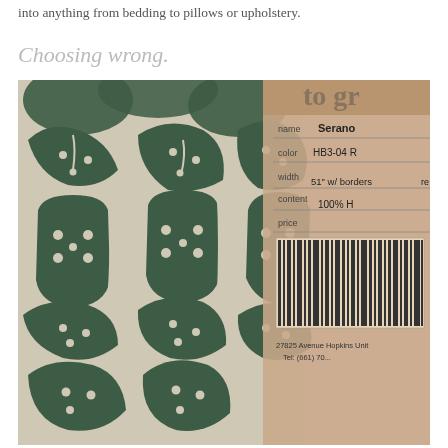into anything from bedding to pillows or upholstery.
Choosing wrong.
[Figure (photo): Photo of a green and cream botanical/leaf patterned fabric swatch with a tan product label card partially visible on the right side. The label shows: name Serano, color HB3-04, width 51" w/ borders, content 100% H[cotton], price [partially cut off]. Also visible is a barcode/pattern swatch on the label and address: 27825 Avenue Hopkins Unit, Tel: (661) 70...]